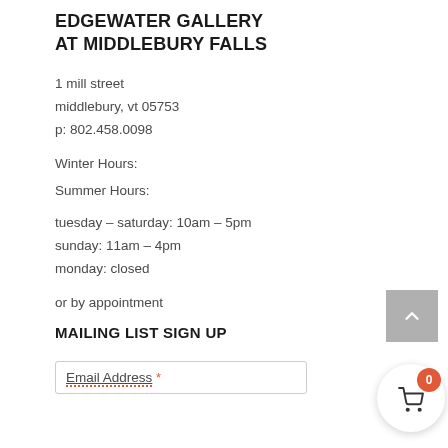EDGEWATER GALLERY AT MIDDLEBURY FALLS
1 mill street
middlebury, vt 05753
p: 802.458.0098
Winter Hours:
Summer Hours:
tuesday – saturday: 10am – 5pm
sunday: 11am – 4pm
monday: closed
or by appointment
MAILING LIST SIGN UP
Email Address *